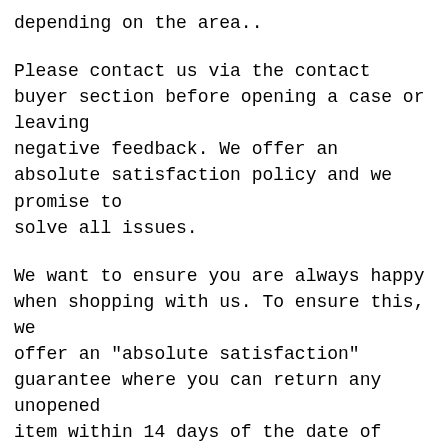depending on the area..
Please contact us via the contact buyer section before opening a case or leaving negative feedback. We offer an absolute satisfaction policy and we promise to solve all issues.
We want to ensure you are always happy when shopping with us. To ensure this, we offer an "absolute satisfaction" guarantee where you can return any unopened item within 14 days of the date of your receipt of your order. Please package up